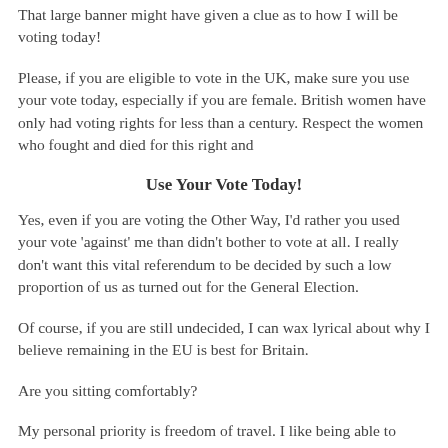That large banner might have given a clue as to how I will be voting today!
Please, if you are eligible to vote in the UK, make sure you use your vote today, especially if you are female. British women have only had voting rights for less than a century. Respect the women who fought and died for this right and
Use Your Vote Today!
Yes, even if you are voting the Other Way, I'd rather you used your vote 'against' me than didn't bother to vote at all. I really don't want this vital referendum to be decided by such a low proportion of us as turned out for the General Election.
Of course, if you are still undecided, I can wax lyrical about why I believe remaining in the EU is best for Britain.
Are you sitting comfortably?
My personal priority is freedom of travel. I like being able to travel in and between EU countries without restriction. I like